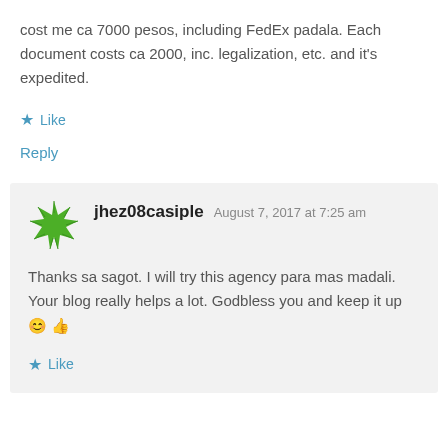cost me ca 7000 pesos, including FedEx padala. Each document costs ca 2000, inc. legalization, etc. and it's expedited.
★ Like
Reply
jhez08casiple  August 7, 2017 at 7:25 am
Thanks sa sagot. I will try this agency para mas madali. Your blog really helps a lot. Godbless you and keep it up 😊 👍
★ Like